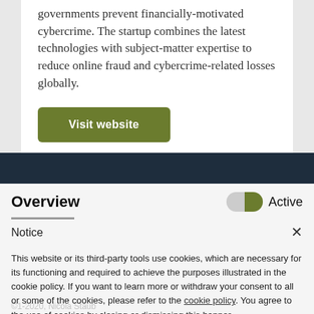governments prevent financially-motivated cybercrime. The startup combines the latest technologies with subject-matter expertise to reduce online fraud and cybercrime-related losses globally.
Visit website
Overview
Active
Notice
This website or its third-party tools use cookies, which are necessary for its functioning and required to achieve the purposes illustrated in the cookie policy. If you want to learn more or withdraw your consent to all or some of the cookies, please refer to the cookie policy. You agree to the use of cookies by closing or dismissing this banner.